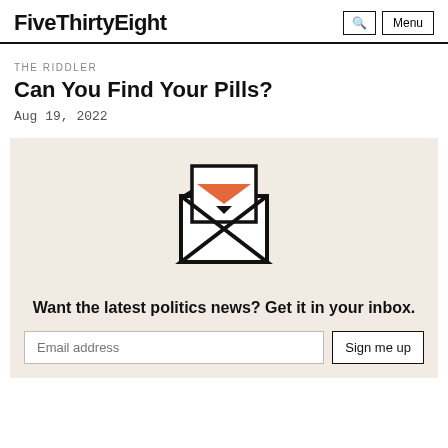FiveThirtyEight
THE RIDDLER
Can You Find Your Pills?
Aug 19, 2022
[Figure (illustration): Newsletter sign-up box with envelope illustration containing an orange triangle and smaller dark triangle, and text 'Want the latest politics news? Get it in your inbox.' with email input and Sign me up button]